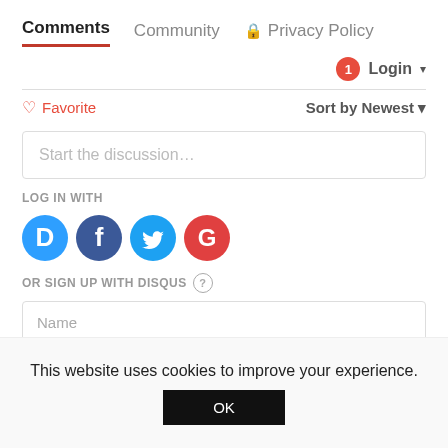Comments  Community  🔒 Privacy Policy
1  Login ▾
♡ Favorite    Sort by Newest ▾
Start the discussion…
LOG IN WITH
[Figure (other): Social login icons: Disqus (blue D), Facebook (dark blue F), Twitter (light blue bird), Google (red G)]
OR SIGN UP WITH DISQUS ?
Name
This website uses cookies to improve your experience.
OK